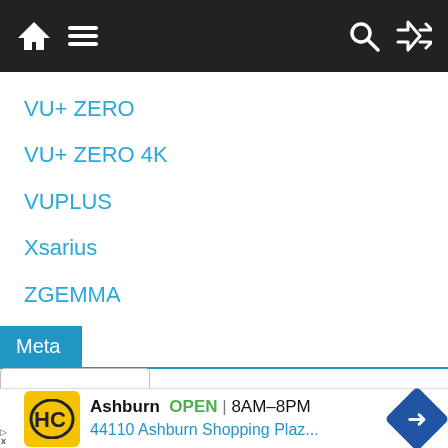Navigation bar with home, menu, search, and shuffle icons
VU+ ZERO
VU+ ZERO 4K
VUPLUS
Xsarius
ZGEMMA
Meta
[Figure (screenshot): Dropdown chevron control]
[Figure (screenshot): Ad banner: HC logo, Ashburn OPEN 8AM-8PM, 44110 Ashburn Shopping Plaz..., blue navigation diamond icon]